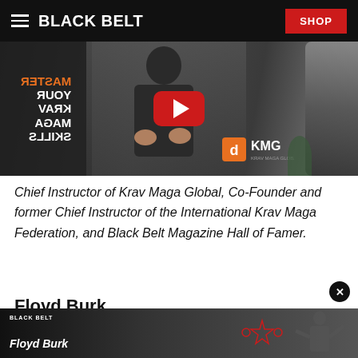BLACK BELT | SHOP
[Figure (screenshot): Video thumbnail showing a man in a dark polo shirt in front of Krav Maga banners and a punching bag, with a YouTube-style red play button overlay. The left banner reads MASTER YOUR KRAV MAGA SKILLS (mirrored). A KMG Krav Maga Global logo is visible on the right side.]
Chief Instructor of Krav Maga Global, Co-Founder and former Chief Instructor of the International Krav Maga Federation, and Black Belt Magazine Hall of Famer.
Floyd Burk
[Figure (screenshot): Bottom video thumbnail showing Black Belt branding and Floyd Burk text with a martial arts background image.]